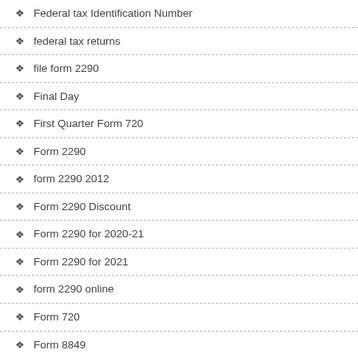Federal tax Identification Number
federal tax returns
file form 2290
Final Day
First Quarter Form 720
Form 2290
form 2290 2012
Form 2290 Discount
Form 2290 for 2020-21
Form 2290 for 2021
form 2290 online
Form 720
Form 8849